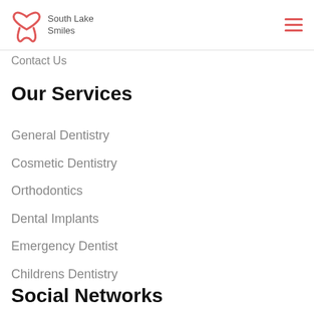South Lake Smiles
Contact Us
Our Services
General Dentistry
Cosmetic Dentistry
Orthodontics
Dental Implants
Emergency Dentist
Childrens Dentistry
Social Networks